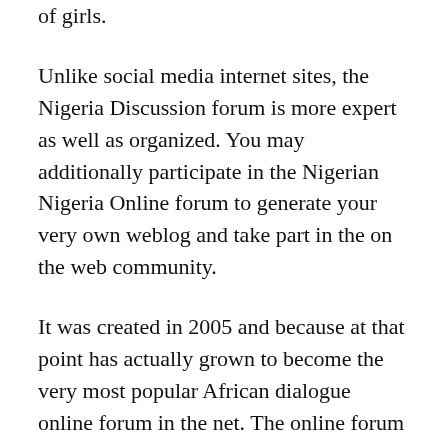of girls.
Unlike social media internet sites, the Nigeria Discussion forum is more expert as well as organized. You may additionally participate in the Nigerian Nigeria Online forum to generate your very own weblog and take part in the on the web community.
It was created in 2005 and because at that point has actually grown to become the very most popular African dialogue online forum in the net. The online forum is moderated on a regular basis so that consumers can acquire an odds to communicate along with the specialists in the market.
The Nigeria Discussion forum is incredibly available to any individual that uses the web and also specifically to those from the Nigerian Diaspora.